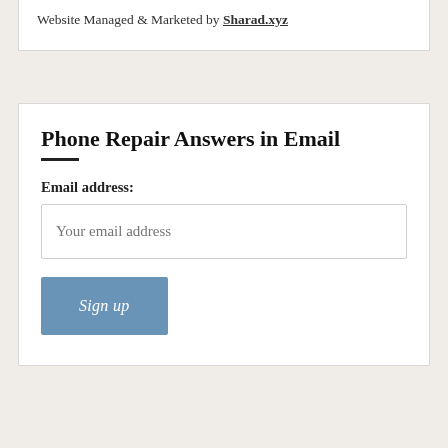Website Managed & Marketed by Sharad.xyz
Phone Repair Answers in Email
Email address:
Your email address
Sign up